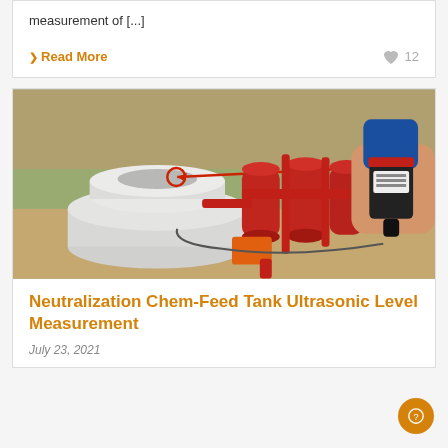measurement of [...]
❯ Read More
12
[Figure (photo): Outdoor industrial photo showing a white cylindrical chemical tank with red piping and multiple red pressure vessels in the background. A person's hand holds a small blue-capped ultrasonic level sensor device in the foreground right. A red arrow points from the device to the tank lid. Orange electrical box visible near tank base.]
Neutralization Chem-Feed Tank Ultrasonic Level Measurement
July 23, 2021